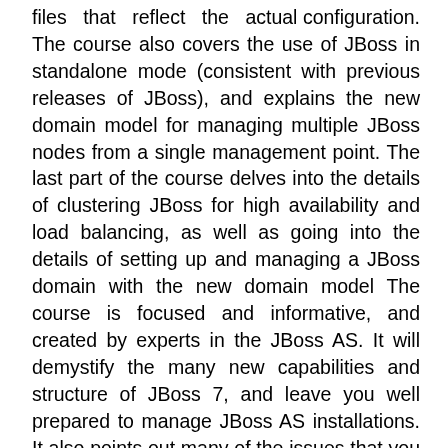files that reflect the actual configuration. The course also covers the use of JBoss in standalone mode (consistent with previous releases of JBoss), and explains the new domain model for managing multiple JBoss nodes from a single management point. The last part of the course delves into the details of clustering JBoss for high availability and load balancing, as well as going into the details of setting up and managing a JBoss domain with the new domain model The course is focused and informative, and created by experts in the JBoss AS. It will demystify the many new capabilities and structure of JBoss 7, and leave you well prepared to manage JBoss AS installations. It also points out many of the issues that you may run into while migrating applications from JBoss 5.